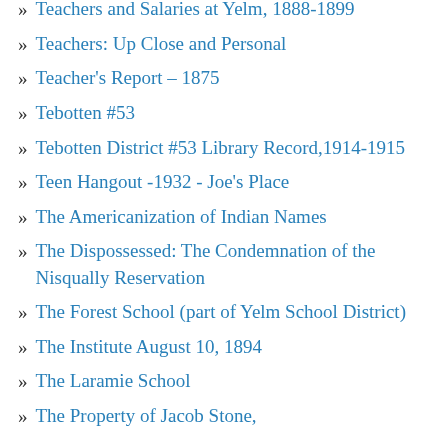Teachers and Salaries at Yelm, 1888-1899
Teachers: Up Close and Personal
Teacher's Report – 1875
Tebotten #53
Tebotten District #53 Library Record,1914-1915
Teen Hangout -1932 - Joe's Place
The Americanization of Indian Names
The Dispossessed: The Condemnation of the Nisqually Reservation
The Forest School (part of Yelm School District)
The Institute August 10, 1894
The Laramie School
The Property of Jacob Stone,